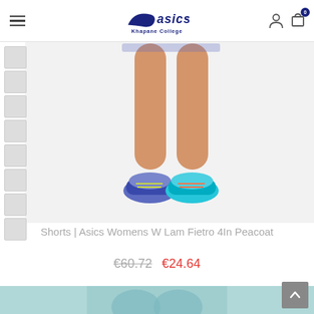[Figure (logo): Asics logo with stripe mark and text 'asics', subtitle 'Khapane College' below]
[Figure (photo): Cropped product photo showing woman's legs wearing Asics running shoes (blue/teal) and shorts, white background]
Shorts | Asics Womens W Lam Fietro 4In Peacoat
€60.72  €24.64
[Figure (photo): Partial bottom thumbnail of product in teal/peacoat color]